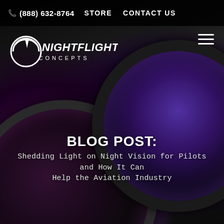(888) 632-8764   STORE   CONTACT US
[Figure (logo): Nightflight Concepts logo — circular arc graphic with NIGHTFLIGHT text in bold italic and CONCEPTS below]
[Figure (photo): Close-up photograph of night vision optical lenses with purple/magenta color reflections against a dark background]
BLOG POST:
Shedding Light on Night Vision for Pilots and How It Can Help the Aviation Industry